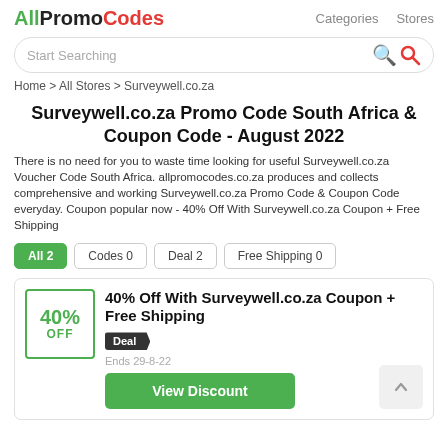AllPromoCodes   Categories   Stores
Start Searching
Home > All Stores > Surveywell.co.za
Surveywell.co.za Promo Code South Africa & Coupon Code - August 2022
There is no need for you to waste time looking for useful Surveywell.co.za Voucher Code South Africa. allpromocodes.co.za produces and collects comprehensive and working Surveywell.co.za Promo Code & Coupon Code everyday. Coupon popular now - 40% Off With Surveywell.co.za Coupon + Free Shipping
All 2
Codes 0
Deal 2
Free Shipping 0
40% Off With Surveywell.co.za Coupon + Free Shipping
Deal
Ends 29-8-22
View Discount